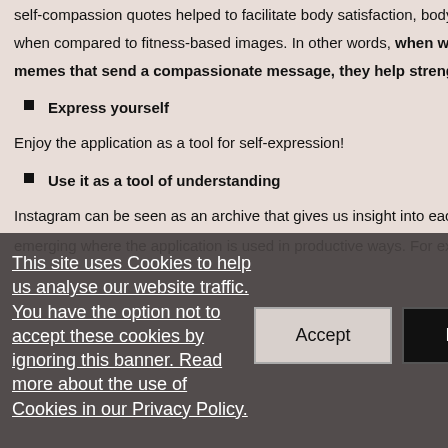self-compassion quotes helped to facilitate body satisfaction, body app… when compared to fitness-based images. In other words, when we cho… memes that send a compassionate message, they help strengthen our…
Express yourself
Enjoy the application as a tool for self-expression!
Use it as a tool of understanding
Instagram can be seen as an archive that gives us insight into each othe… emerging where the application is used in productive ways. For exampl…
This site uses Cookies to help us analyse our website traffic. You have the option not to accept these cookies by ignoring this banner. Read more about the use of Cookies in our Privacy Policy